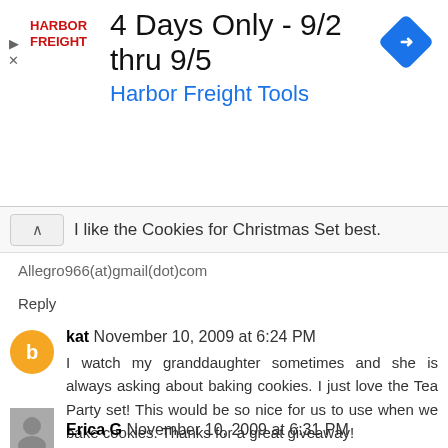[Figure (infographic): Harbor Freight Tools advertisement banner: '4 Days Only - 9/2 thru 9/5' with Harbor Freight logo in red and a blue diamond navigation icon]
I like the Cookies for Christmas Set best.
Allegro966(at)gmail(dot)com
Reply
kat  November 10, 2009 at 6:24 PM
I watch my granddaughter sometimes and she is always asking about baking cookies. I just love the Tea Party set! This would be so nice for us to use when we bake cookies. Thanks for a great giveaway!
Reply
Erica G  November 10, 2009 at 6:31 PM